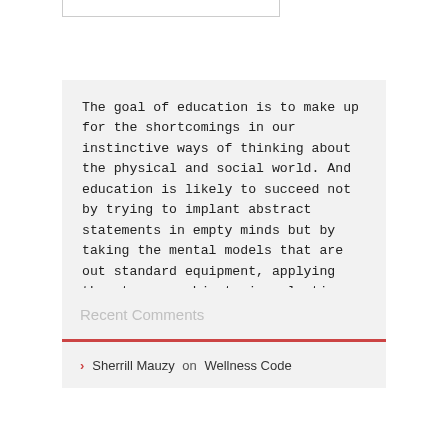The goal of education is to make up for the shortcomings in our instinctive ways of thinking about the physical and social world. And education is likely to succeed not by trying to implant abstract statements in empty minds but by taking the mental models that are out standard equipment, applying them to new subjects in selective analogies, and assembling them into new and more sophisticated combinations. —Steven Pinker
Recent Comments
Sherrill Mauzy on Wellness Code